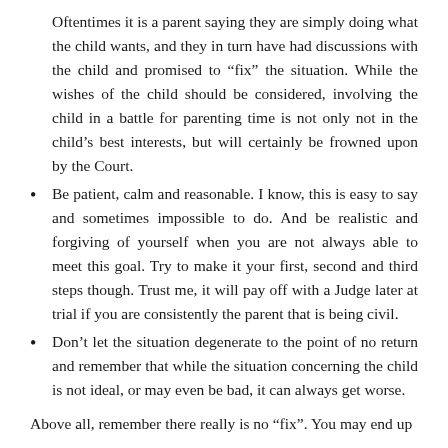Oftentimes it is a parent saying they are simply doing what the child wants, and they in turn have had discussions with the child and promised to “fix” the situation. While the wishes of the child should be considered, involving the child in a battle for parenting time is not only not in the child’s best interests, but will certainly be frowned upon by the Court.
Be patient, calm and reasonable. I know, this is easy to say and sometimes impossible to do. And be realistic and forgiving of yourself when you are not always able to meet this goal. Try to make it your first, second and third steps though. Trust me, it will pay off with a Judge later at trial if you are consistently the parent that is being civil.
Don’t let the situation degenerate to the point of no return and remember that while the situation concerning the child is not ideal, or may even be bad, it can always get worse.
Above all, remember there really is no “fix”. You may end up